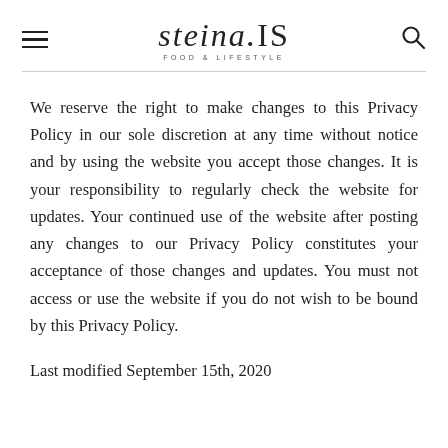steina.IS — FOOD & LIFESTYLE
We reserve the right to make changes to this Privacy Policy in our sole discretion at any time without notice and by using the website you accept those changes. It is your responsibility to regularly check the website for updates. Your continued use of the website after posting any changes to our Privacy Policy constitutes your acceptance of those changes and updates. You must not access or use the website if you do not wish to be bound by this Privacy Policy.
Last modified September 15th, 2020